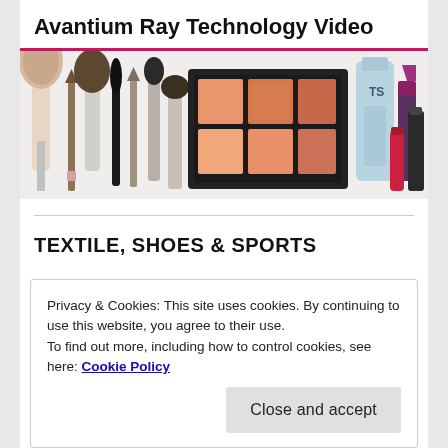Avantium Ray Technology Video
[Figure (photo): Banner image showing various makeup and cosmetic products including brushes, pencils, a makeup palette, bottles, and lipsticks arranged in a row]
TEXTILE, SHOES & SPORTS
Privacy & Cookies: This site uses cookies. By continuing to use this website, you agree to their use.
To find out more, including how to control cookies, see here: Cookie Policy
Close and accept